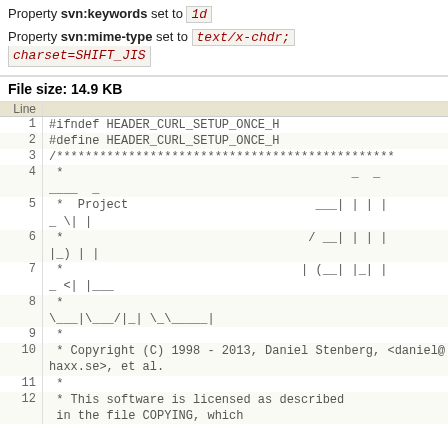Property svn:keywords set to 1d
Property svn:mime-type set to text/x-chdr; charset=SHIFT_JIS
File size: 14.9 KB
| Line |  |
| --- | --- |
| 1 | #ifndef HEADER_CURL_SETUP_ONCE_H |
| 2 | #define HEADER_CURL_SETUP_ONCE_H |
| 3 | /*********************************************** |
| 4 |  *                                        _  _
____  _ |
| 5 |  *  Project                          ___| | | |
_ \| | |
| 6 |  *                                  / __| | | |
|_) | | |
| 7 |  *                                 | (__| |_| |
_ <| |___ |
| 8 |  *
\___|\___|_| \_\_____| |
| 9 |  * |
| 10 |  * Copyright (C) 1998 - 2013, Daniel Stenberg, <daniel@haxx.se>, et al. |
| 11 |  * |
| 12 |  * This software is licensed as described
 in the file COPYING, which |